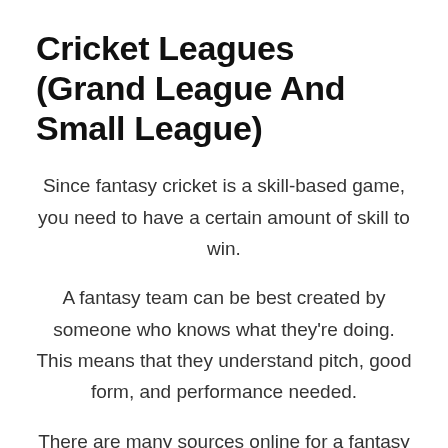Cricket Leagues (Grand League And Small League)
Since fantasy cricket is a skill-based game, you need to have a certain amount of skill to win.
A fantasy team can be best created by someone who knows what they're doing. This means that they understand pitch, good form, and performance needed.
There are many sources online for a fantasy cricket league. First, here are some things to